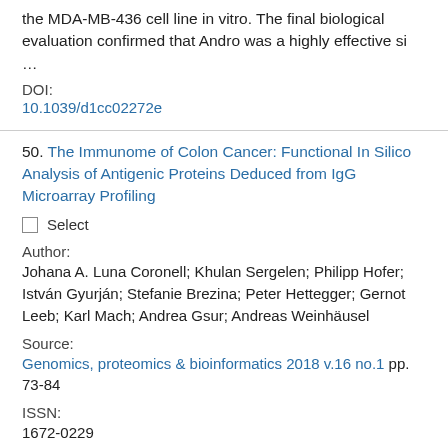the MDA-MB-436 cell line in vitro. The final biological evaluation confirmed that Andro was a highly effective si …
DOI:
10.1039/d1cc02272e
50. The Immunome of Colon Cancer: Functional In Silico Analysis of Antigenic Proteins Deduced from IgG Microarray Profiling
Select
Author:
Johana A. Luna Coronell; Khulan Sergelen; Philipp Hofer; István Gyurján; Stefanie Brezina; Peter Hettegger; Gernot Leeb; Karl Mach; Andrea Gsur; Andreas Weinhäusel
Source:
Genomics, proteomics & bioinformatics 2018 v.16 no.1 pp. 73-84
ISSN:
1672-0229